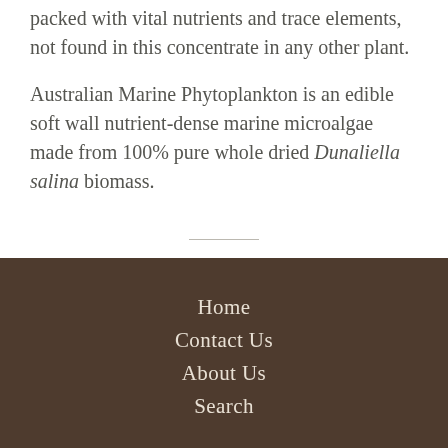packed with vital nutrients and trace elements, not found in this concentrate in any other plant.
Australian Marine Phytoplankton is an edible soft wall nutrient-dense marine microalgae made from 100% pure whole dried Dunaliella salina biomass.
Home
Contact Us
About Us
Search